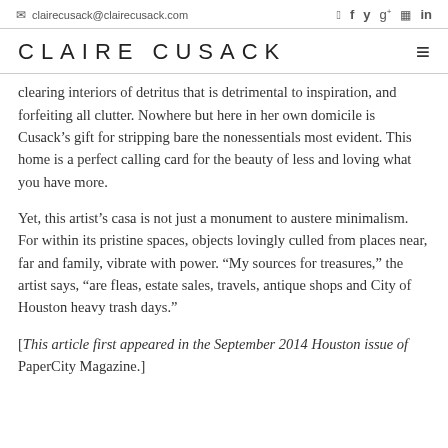clairecusack@clairecusack.com  [social icons: instagram, facebook, twitter, google+, youtube, linkedin]
CLAIRE CUSACK
clearing interiors of detritus that is detrimental to inspiration, and forfeiting all clutter. Nowhere but here in her own domicile is Cusack’s gift for stripping bare the nonessentials most evident. This home is a perfect calling card for the beauty of less and loving what you have more.
Yet, this artist’s casa is not just a monument to austere minimalism. For within its pristine spaces, objects lovingly culled from places near, far and family, vibrate with power. “My sources for treasures,” the artist says, “are fleas, estate sales, travels, antique shops and City of Houston heavy trash days.”
[This article first appeared in the September 2014 Houston issue of PaperCity Magazine.]